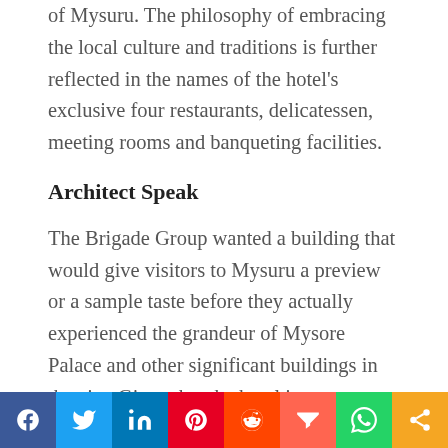of Mysuru. The philosophy of embracing the local culture and traditions is further reflected in the names of the hotel's exclusive four restaurants, delicatessen, meeting rooms and banqueting facilities.
Architect Speak
The Brigade Group wanted a building that would give visitors to Mysuru a preview or a sample taste before they actually experienced the grandeur of Mysore Palace and other significant buildings in the city. Given that the hotel is
[Figure (other): Social media sharing bar with icons for Facebook, Twitter, LinkedIn, Pinterest, Reddit, Mix, WhatsApp, and share]